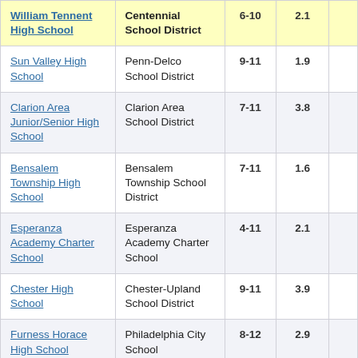| School | District | Grades | Rating |  |
| --- | --- | --- | --- | --- |
| William Tennent High School | Centennial School District | 6-10 | 2.1 |  |
| Sun Valley High School | Penn-Delco School District | 9-11 | 1.9 |  |
| Clarion Area Junior/Senior High School | Clarion Area School District | 7-11 | 3.8 |  |
| Bensalem Township High School | Bensalem Township School District | 7-11 | 1.6 |  |
| Esperanza Academy Charter School | Esperanza Academy Charter School | 4-11 | 2.1 |  |
| Chester High School | Chester-Upland School District | 9-11 | 3.9 |  |
| Furness Horace High School | Philadelphia City School | 8-12 | 2.9 |  |